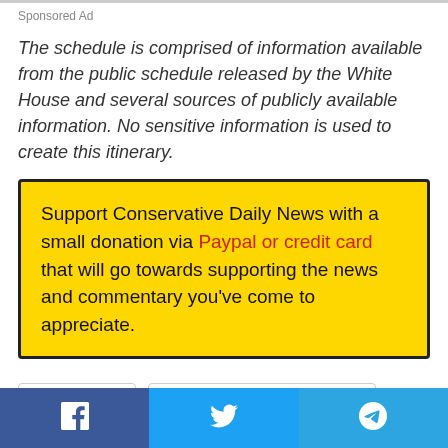Sponsored Ad
The schedule is comprised of information available from the public schedule released by the White House and several sources of publicly available information. No sensitive information is used to create this itinerary.
Support Conservative Daily News with a small donation via Paypal or credit card that will go towards supporting the news and commentary you've come to appreciate.
#Joe Biden
#The President's Schedule